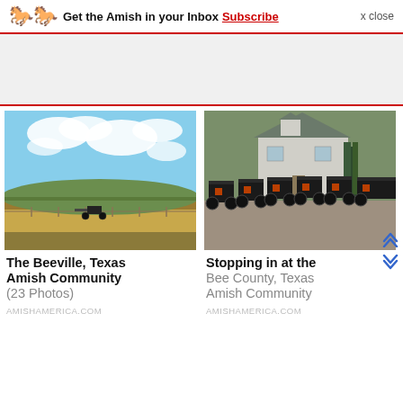Get the Amish in your Inbox Subscribe  x close
[Figure (photo): Left photo: open rural landscape with blue sky and clouds, a horse and buggy visible on a dirt road near a fence line with rolling hills in the background]
[Figure (photo): Right photo: multiple Amish black horse-drawn buggies parked in a gravel lot with a white two-story house and evergreen trees in the background]
The Beeville, Texas Amish Community (23 Photos)
AMISHAMERICA.COM
Stopping in at the Bee County, Texas Amish Community
AMISHAMERICA.COM